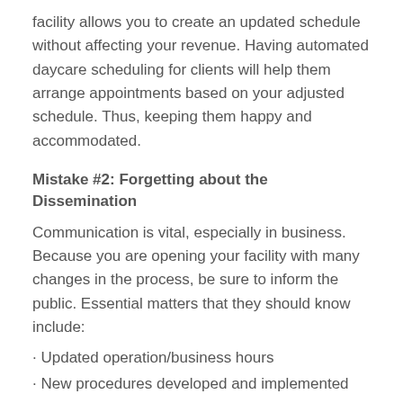facility allows you to create an updated schedule without affecting your revenue. Having automated daycare scheduling for clients will help them arrange appointments based on your adjusted schedule. Thus, keeping them happy and accommodated.
Mistake #2: Forgetting about the Dissemination
Communication is vital, especially in business. Because you are opening your facility with many changes in the process, be sure to inform the public. Essential matters that they should know include:
Updated operation/business hours
New procedures developed and implemented
Cleaning protocols in the facility
Payment methods to ensure less contact
Maximum clients catered in a day
Using kennel software programs help you quickly